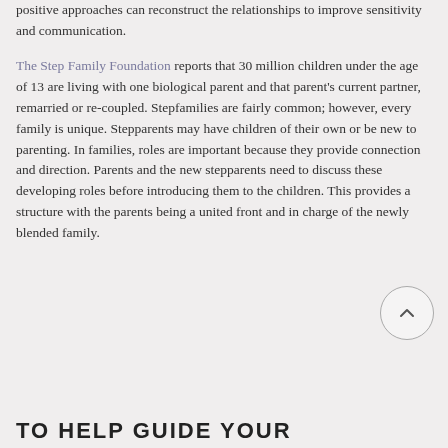positive approaches can reconstruct the relationships to improve sensitivity and communication.
The Step Family Foundation reports that 30 million children under the age of 13 are living with one biological parent and that parent's current partner, remarried or re-coupled. Stepfamilies are fairly common; however, every family is unique. Stepparents may have children of their own or be new to parenting. In families, roles are important because they provide connection and direction. Parents and the new stepparents need to discuss these developing roles before introducing them to the children. This provides a structure with the parents being a united front and in charge of the newly blended family.
TO HELP GUIDE YOUR